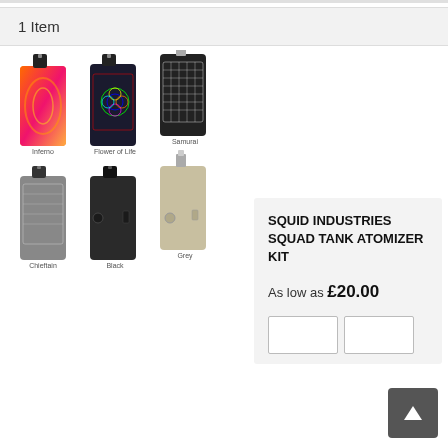1 Item
[Figure (photo): Six Squid Industries Squad Tank Atomizer Kit devices in different styles: Inferno (orange/red pattern), Flower of Life (multicolor), Samurai (black/white pattern), Chieftain (silver/black pattern), Black, and Grey.]
SQUID INDUSTRIES SQUAD TANK ATOMIZER KIT
As low as £20.00